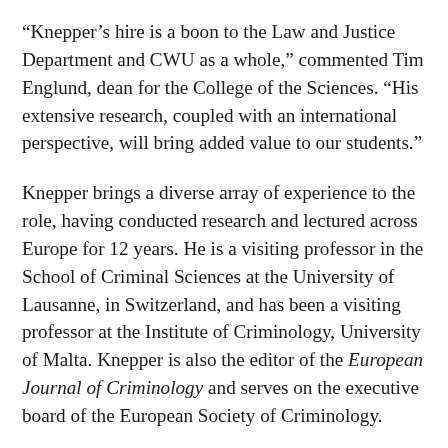“Knepper’s hire is a boon to the Law and Justice Department and CWU as a whole,” commented Tim Englund, dean for the College of the Sciences. “His extensive research, coupled with an international perspective, will bring added value to our students.”
Knepper brings a diverse array of experience to the role, having conducted research and lectured across Europe for 12 years. He is a visiting professor in the School of Criminal Sciences at the University of Lausanne, in Switzerland, and has been a visiting professor at the Institute of Criminology, University of Malta. Knepper is also the editor of the European Journal of Criminology and serves on the executive board of the European Society of Criminology.
“I am very excited about joining CWU,” Knepper said, “The department combines the study of criminal justice, legal studies, and wider issues of social justice that I